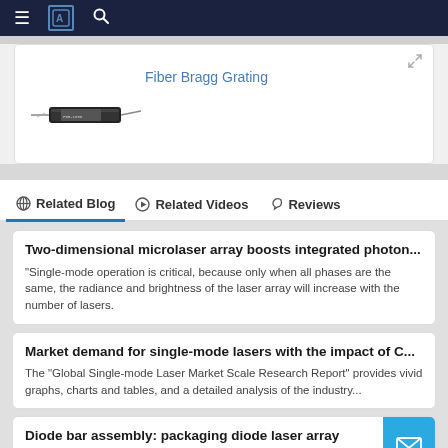Navigation bar with menu, logo, search icons
[Figure (photo): Fiber Bragg Grating device — small cylindrical component with label, titled 'Fiber Bragg Grating']
Related Blog   Related Videos   Reviews
Two-dimensional microlaser array boosts integrated photon...
"Single-mode operation is critical, because only when all phases are the same, the radiance and brightness of the laser array will increase with the number of lasers.
Market demand for single-mode lasers with the impact of C...
The "Global Single-mode Laser Market Scale Research Report" provides vivid graphs, charts and tables, and a detailed analysis of the industry...
Diode bar assembly: packaging diode laser array
Edge-emitting semiconductor laser arrays are also called laser ro...